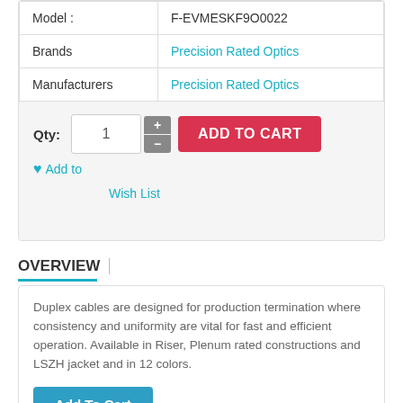| Model : | F-EVMESKF9O0022 |
| Brands | Precision Rated Optics |
| Manufacturers | Precision Rated Optics |
Qty: 1  ADD TO CART  ♥ Add to Wish List
OVERVIEW
Duplex cables are designed for production termination where consistency and uniformity are vital for fast and efficient operation. Available in Riser, Plenum rated constructions and LSZH jacket and in 12 colors.
Add To Cart